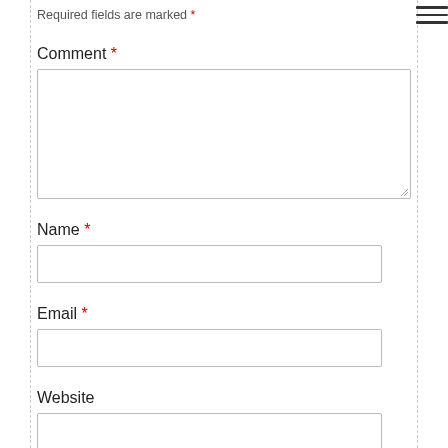Required fields are marked *
Comment *
Name *
Email *
Website
Save my name, email, and website in this